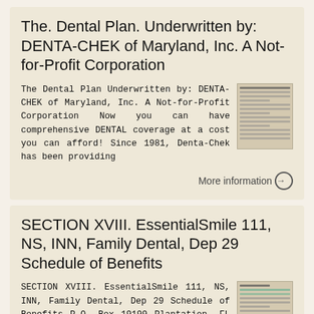The. Dental Plan. Underwritten by: DENTA-CHEK of Maryland, Inc. A Not-for-Profit Corporation
The Dental Plan Underwritten by: DENTA-CHEK of Maryland, Inc. A Not-for-Profit Corporation Now you can have comprehensive DENTAL coverage at a cost you can afford! Since 1981, Denta-Chek has been providing
[Figure (other): Thumbnail image of a dental plan document]
More information ⊙
SECTION XVIII. EssentialSmile 111, NS, INN, Family Dental, Dep 29 Schedule of Benefits
SECTION XVIII. EssentialSmile 111, NS, INN, Family Dental, Dep 29 Schedule of Benefits P.O. Box 19199 Plantation, FL 33318 Telephone: 877-760-2247 Fax: 954-370-1701 www.mysolstice.net COST-SHARING Members
[Figure (other): Thumbnail image of a dental benefits schedule document]